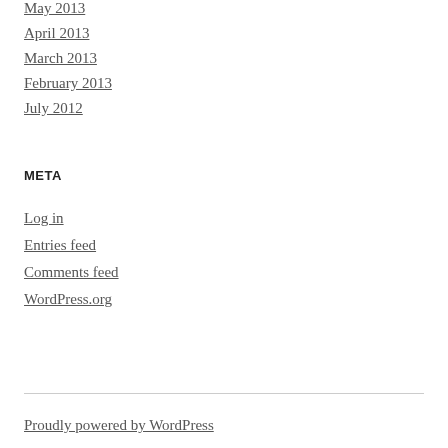May 2013
April 2013
March 2013
February 2013
July 2012
META
Log in
Entries feed
Comments feed
WordPress.org
Proudly powered by WordPress